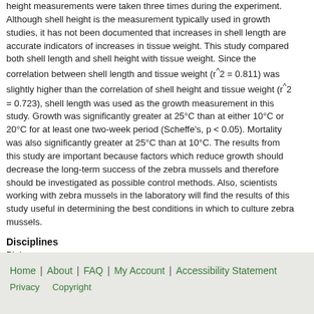height measurements were taken three times during the experiment. Although shell height is the measurement typically used in growth studies, it has not been documented that increases in shell length are accurate indicators of increases in tissue weight. This study compared both shell length and shell height with tissue weight. Since the correlation between shell length and tissue weight (r^2 = 0.811) was slightly higher than the correlation of shell height and tissue weight (r^2 = 0.723), shell length was used as the growth measurement in this study. Growth was significantly greater at 25°C than at either 10°C or 20°C for at least one two-week period (Scheffe's, p < 0.05). Mortality was also significantly greater at 25°C than at 10°C. The results from this study are important because factors which reduce growth should decrease the long-term success of the zebra mussels and therefore should be investigated as possible control methods. Also, scientists working with zebra mussels in the laboratory will find the results of this study useful in determining the best conditions in which to culture zebra mussels.
Disciplines
Biology
Recommended Citation
Ross '93, Tamara K., "The Effect of Temperature on the Growth of the Zebra Mussel, Dreissena Polymorpha (Pallas)" (1993). Honors Projects. 31.
https://digitalcommons.iwu.edu/bio_honproj/31